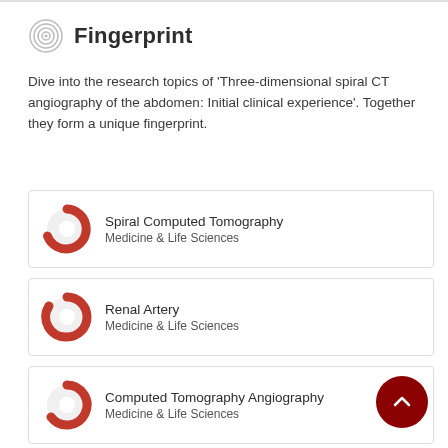Fingerprint
Dive into the research topics of 'Three-dimensional spiral CT angiography of the abdomen: Initial clinical experience'. Together they form a unique fingerprint.
Spiral Computed Tomography — Medicine & Life Sciences
Renal Artery — Medicine & Life Sciences
Computed Tomography Angiography — Medicine & Life Sciences
Abdomen — Medicine & Life Sciences